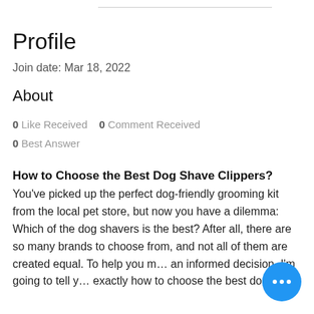Profile
Join date: Mar 18, 2022
About
0 Like Received   0 Comment Received
0 Best Answer
How to Choose the Best Dog Shave Clippers?
You've picked up the perfect dog-friendly grooming kit from the local pet store, but now you have a dilemma: Which of the dog shavers is the best? After all, there are so many brands to choose from, and not all of them are created equal. To help you make an informed decision, I'm going to tell you exactly how to choose the best dog shave